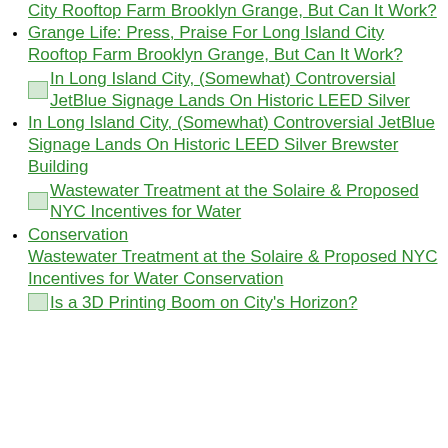City Rooftop Farm Brooklyn Grange, But Can It Work?
Grange Life: Press, Praise For Long Island City Rooftop Farm Brooklyn Grange, But Can It Work?
[Figure (other): Small thumbnail image link for 'In Long Island City, (Somewhat) Controversial JetBlue Signage Lands On Historic LEED Silver Brewster Building']
In Long Island City, (Somewhat) Controversial JetBlue Signage Lands On Historic LEED Silver Brewster Building
In Long Island City, (Somewhat) Controversial JetBlue Signage Lands On Historic LEED Silver Brewster Building
[Figure (other): Small thumbnail image link for 'Wastewater Treatment at the Solaire & Proposed NYC Incentives for Water Conservation']
Wastewater Treatment at the Solaire & Proposed NYC Incentives for Water Conservation
Wastewater Treatment at the Solaire & Proposed NYC Incentives for Water Conservation
[Figure (other): Small thumbnail image link for 'Is a 3D Printing Boom on City's Horizon?']